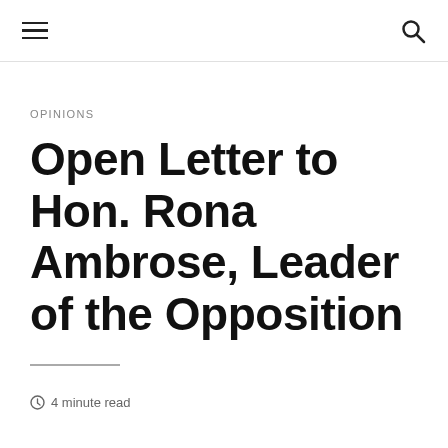≡  🔍
OPINIONS
Open Letter to Hon. Rona Ambrose, Leader of the Opposition
4 minute read